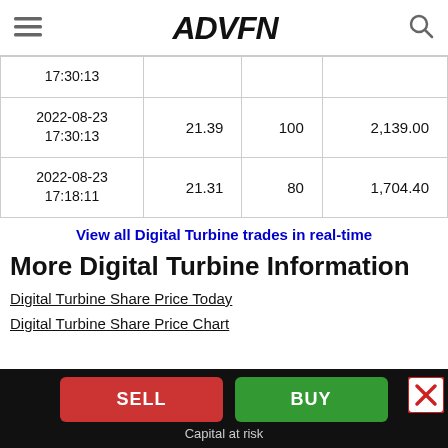ADVFN
| Date/Time | Price | Volume | Value |
| --- | --- | --- | --- |
| 17:30:13 |  |  |  |
| 2022-08-23 17:30:13 | 21.39 | 100 | 2,139.00 |
| 2022-08-23 17:18:11 | 21.31 | 80 | 1,704.40 |
View all Digital Turbine trades in real-time
More Digital Turbine Information
Digital Turbine Share Price Today
Digital Turbine Share Price Chart
SELL  BUY  Capital at risk